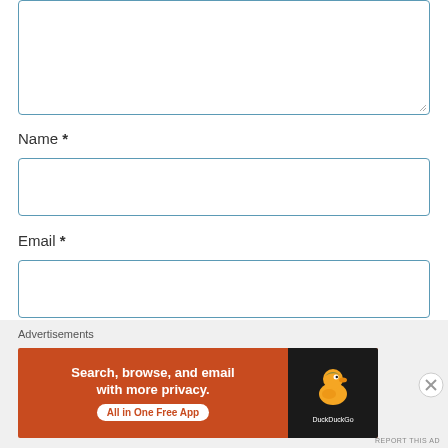[Figure (screenshot): Text area input box with resize handle at bottom-right, teal border]
Name *
[Figure (screenshot): Name input field with teal border]
Email *
[Figure (screenshot): Email input field with teal border]
Website
[Figure (screenshot): Website input field with teal border (partially visible)]
Advertisements
[Figure (screenshot): DuckDuckGo advertisement banner: 'Search, browse, and email with more privacy. All in One Free App' on orange background with DuckDuckGo logo on black background]